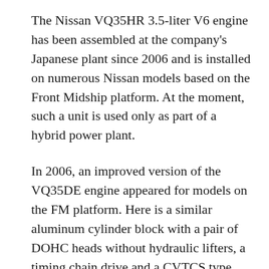The Nissan VQ35HR 3.5-liter V6 engine has been assembled at the company's Japanese plant since 2006 and is installed on numerous Nissan models based on the Front Midship platform. At the moment, such a unit is used only as part of a hybrid power plant.
In 2006, an improved version of the VQ35DE engine appeared for models on the FM platform. Here is a similar aluminum cylinder block with a pair of DOHC heads without hydraulic lifters, a timing chain drive and a CVTCS type phase control system. But they also have some differences: the cylinder block has become 8 mm higher and has been reinforced, the necks and crankshaft liners have become larger, the length of the connecting rods has grown from 144 to 152 mm, other pistons with asymmetric skirts have appeared, phase regulators